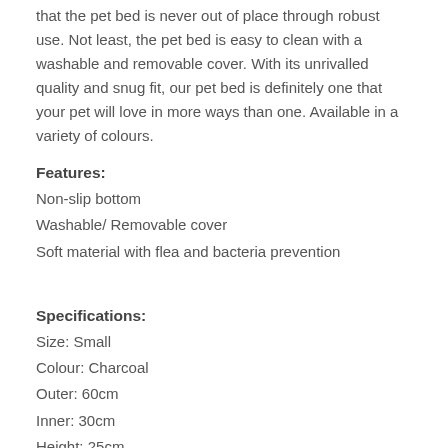that the pet bed is never out of place through robust use. Not least, the pet bed is easy to clean with a washable and removable cover. With its unrivalled quality and snug fit, our pet bed is definitely one that your pet will love in more ways than one. Available in a variety of colours.
Features:
Non-slip bottom
Washable/ Removable cover
Soft material with flea and bacteria prevention
Specifications:
Size: Small
Colour: Charcoal
Outer: 60cm
Inner: 30cm
Height: 25cm